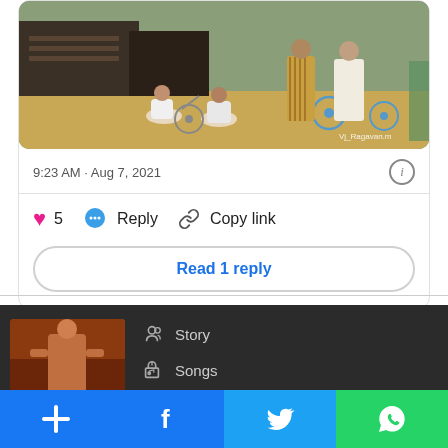[Figure (photo): Screenshot from a movie/TV show showing people sitting and standing near bicycles in an outdoor market or street setting. Watermark 'Vj_Ragavan.m' visible in bottom right.]
9:23 AM · Aug 7, 2021
5  Reply  Copy link
Read 1 reply
[Figure (screenshot): Dark footer section showing a movie poster thumbnail and menu items: Story, Songs]
[Figure (screenshot): Social sharing bar with four buttons: Add (+), Facebook, Twitter, WhatsApp]